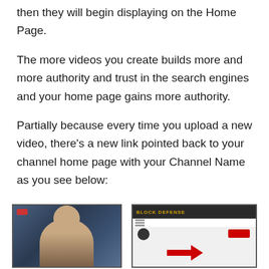then they will begin displaying on the Home Page.
The more videos you create builds more and more authority and trust in the search engines and your home page gains more authority.
Partially because every time you upload a new video, there's a new link pointed back to your channel home page with your Channel Name as you see below:
[Figure (screenshot): Two side-by-side screenshots: left shows a bearded man in a video thumbnail with a red recording indicator; right shows a YouTube channel home page with a dark header showing 'BLOCK DEFENSE' in gold text, a red subscribe button, and a red arrow pointing to the channel name area.]